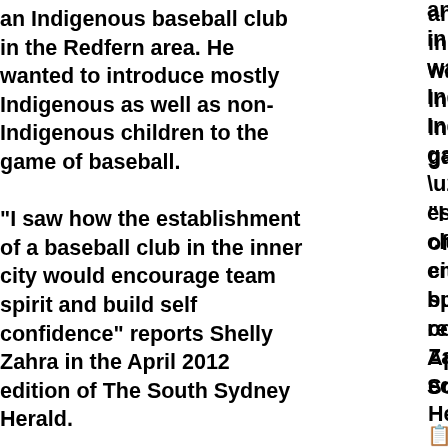an Indigenous baseball club in the Redfern area. He wanted to introduce mostly Indigenous as well as non-Indigenous children to the game of baseball. “I saw how the establishment of a baseball club in the inner city would encourage team spirit and build self confidence” reports Shelly Zahra in the April 2012 edition of The South Sydney Herald.
Become a Sydney local in a day
Two men sit casually sharing a conversation,